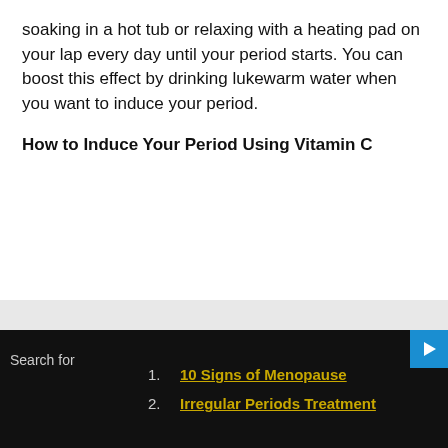soaking in a hot tub or relaxing with a heating pad on your lap every day until your period starts. You can boost this effect by drinking lukewarm water when you want to induce your period.
How to Induce Your Period Using Vitamin C
1. 10 Signs of Menopause
2. Irregular Periods Treatment
Search for